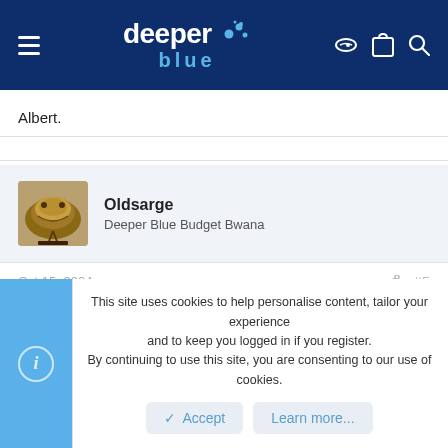deeper blue — navigation header with hamburger menu, logo, and icons
Albert.
Oldsarge
Deeper Blue Budget Bwana
Oct 15, 2004  #5
[QUOTEThe straps are rifle slings.

Albert. [/B][/QUOTE]
This site uses cookies to help personalise content, tailor your experience and to keep you logged in if you register.
By continuing to use this site, you are consenting to our use of cookies.